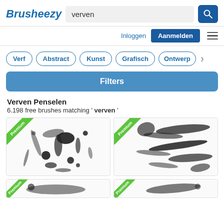Brusheezy
verven
Inloggen  Aanmelden
Verf
Abstract
Kunst
Grafisch
Ontwerp
Filters
Verven Penselen
6.198 free brushes matching ' verven '
[Figure (photo): Premium paint splatter brush preview - black ink splashes on white background]
[Figure (photo): Premium paint stroke brush preview - black brushstrokes on white background]
[Figure (photo): Premium brush preview partially visible at bottom]
[Figure (photo): Premium brush preview partially visible at bottom]